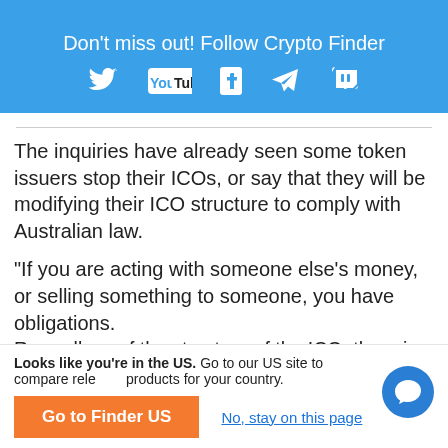[Figure (infographic): Blue social media follow banner with Twitter, YouTube, Facebook, Telegram, and Twitch icons and text 'Don't miss out! Follow Crypto Finder']
The inquiries have already seen some token issuers stop their ICOs, or say that they will be modifying their ICO structure to comply with Australian law.
"If you are acting with someone else's money, or selling something to someone, you have obligations. Regardless of the structure of the ICO, there is one law...
Looks like you're in the US. Go to our US site to compare relevant products for your country.
Go to Finder US
No, stay on this page